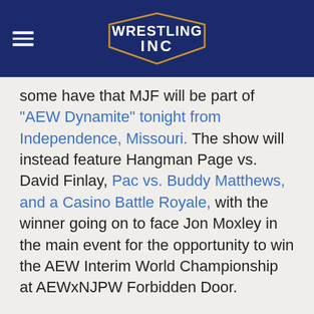Wrestling Inc
some have that MJF will be part of "AEW Dynamite" tonight from Independence, Missouri. The show will instead feature Hangman Page vs. David Finlay, Pac vs. Buddy Matthews, and a Casino Battle Royale, with the winner going on to face Jon Moxley in the main event for the opportunity to win the AEW Interim World Championship at AEWxNJPW Forbidden Door.
82 COMMENTS ▲
RECOMMENDED